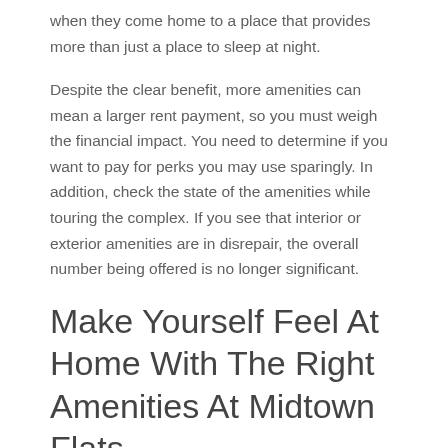when they come home to a place that provides more than just a place to sleep at night.
Despite the clear benefit, more amenities can mean a larger rent payment, so you must weigh the financial impact. You need to determine if you want to pay for perks you may use sparingly. In addition, check the state of the amenities while touring the complex. If you see that interior or exterior amenities are in disrepair, the overall number being offered is no longer significant.
Make Yourself Feel At Home With The Right Amenities At Midtown Flats
You will have access to a multitude of sought-after amenities when you live at Midtown Flats. We have